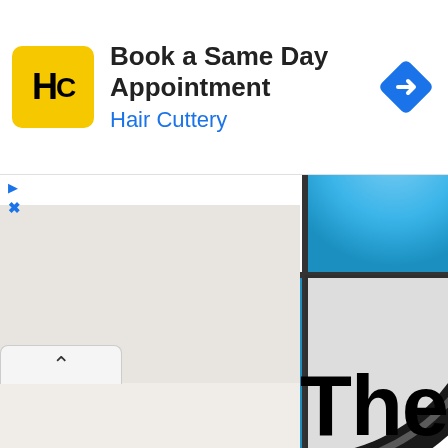[Figure (screenshot): Advertisement banner for Hair Cuttery showing their logo (yellow square with HC text), the text 'Book a Same Day Appointment' and 'Hair Cuttery' in blue, plus a blue navigation diamond icon on the right. Below the ad are ad control icons (play and X). The main page content shows a partial BMW logo (large circular roundel with black rim, blue and white quadrants) and partial text 'The B' at the bottom.]